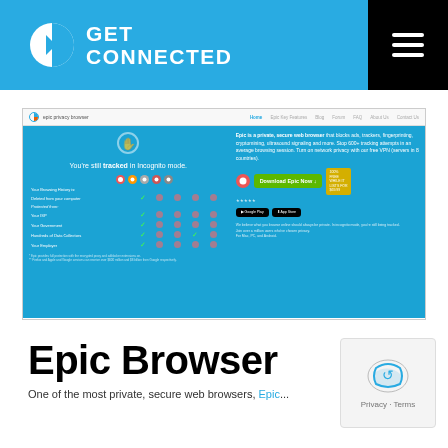GET CONNECTED
[Figure (screenshot): Screenshot of Epic Privacy Browser website homepage showing comparison table of browser privacy features, download button, and app store links]
Epic Browser
One of the most private, secure web browsers, Epic...